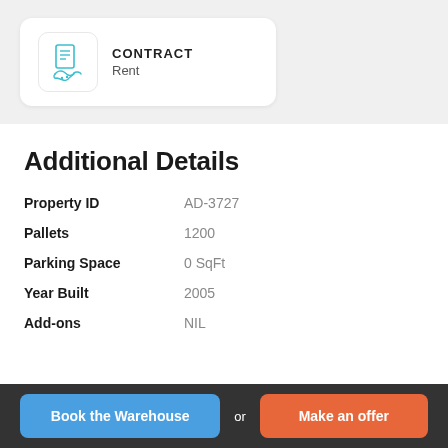[Figure (illustration): Contract icon card showing a document/handshake icon with label CONTRACT and subtext Rent]
Additional Details
| Property ID | AD-3727 |
| Pallets | 1200 |
| Parking Space | 0 SqFt |
| Year Built | 2005 |
| Add-ons | NIL |
Book the Warehouse  or  Make an offer